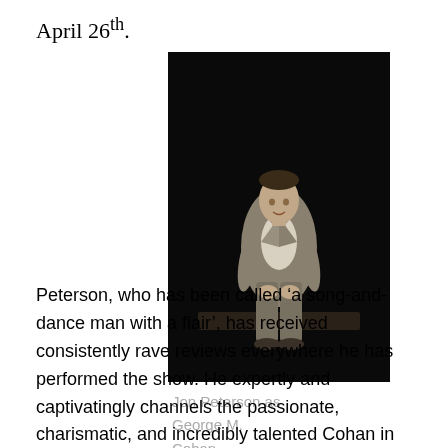April 26th.
[Figure (photo): A man in a grey suit and bow tie sitting on a stage prop or surface against a dark background, performing as George M. Cohan.]
Jon Peterson as George M. Cohan
Peterson, who has been called ‘a song-and-dance man with a flair’, has received consistently rave reviews everywhere he has performed the show. He expertly and captivatingly channels the passionate, charismatic, and incredibly talented Cohan in 95 fast-moving minutes.